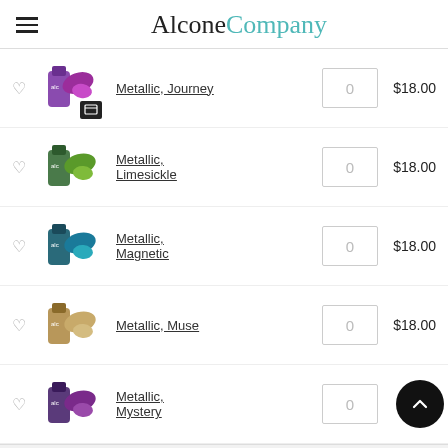AlconeCompany
Metallic, Journey — 0 — $18.00
Metallic, Limesickle — 0 — $18.00
Metallic, Magnetic — 0 — $18.00
Metallic, Muse — 0 — $18.00
Metallic, Mystery — 0 — $18.00
ADD TO CART